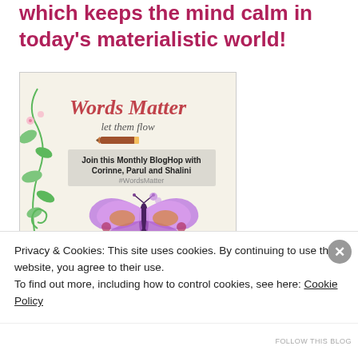which keeps the mind calm in today's materialistic world!
[Figure (illustration): Words Matter BlogHop promotional image with decorative butterfly, floral vines, pencil graphic, and text: 'Words Matter - let them flow / Join this Monthly BlogHop with Corinne, Parul and Shalini / #WordsMatter']
Privacy & Cookies: This site uses cookies. By continuing to use this website, you agree to their use.
To find out more, including how to control cookies, see here: Cookie Policy
Close and accept